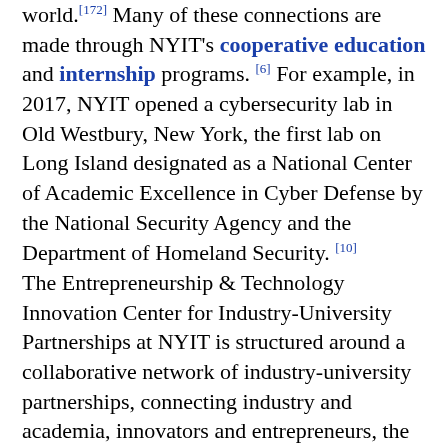world.[172] Many of these connections are made through NYIT's cooperative education and internship programs.[6] For example, in 2017, NYIT opened a cybersecurity lab in Old Westbury, New York, the first lab on Long Island designated as a National Center of Academic Excellence in Cyber Defense by the National Security Agency and the Department of Homeland Security.[10]
The Entrepreneurship & Technology Innovation Center for Industry-University Partnerships at NYIT is structured around a collaborative network of industry-university partnerships, connecting industry and academia, innovators and entrepreneurs, the Entrepreneurship and Technology Innovation Center (ETIC) is a catalyst for technological innovation, entrepreneurship, and economic development. The ETIC focuses on three technological drivers of economic growth in the New York